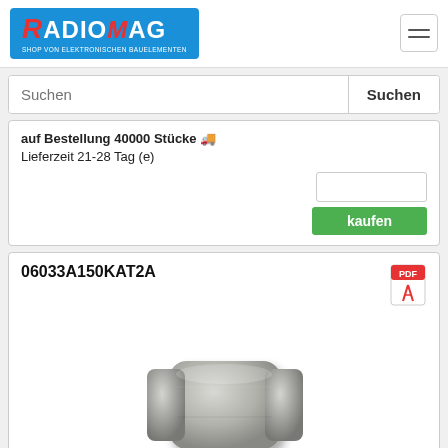[Figure (logo): RADIOMAG logo - shop von elektronischen bauelementen]
auf Bestellung 40000 Stücke 🚛
Lieferzeit 21-28 Tag (e)
kaufen
06033A150KAT2A
[Figure (photo): SMD ceramic capacitor component, silver/grey colored, small rectangular chip capacitor with metallic end caps]
Hersteller: AVX Corporation
Description: CAP CER 15PF 25V NP0 0603